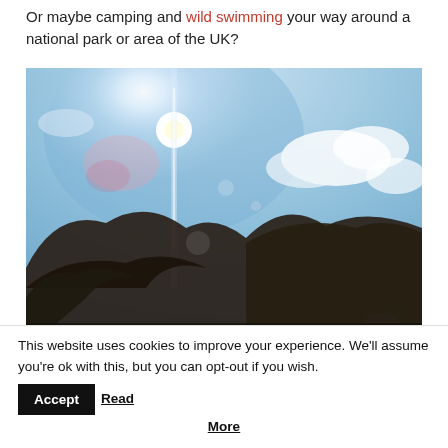Or maybe camping and wild swimming your way around a national park or area of the UK?
[Figure (photo): Outdoor landscape photo showing a bright sun with lens flare over a mountainous hillside with trees, blue sky with clouds, and a partial view of a person's head at the bottom right.]
This website uses cookies to improve your experience. We'll assume you're ok with this, but you can opt-out if you wish. Accept Read More